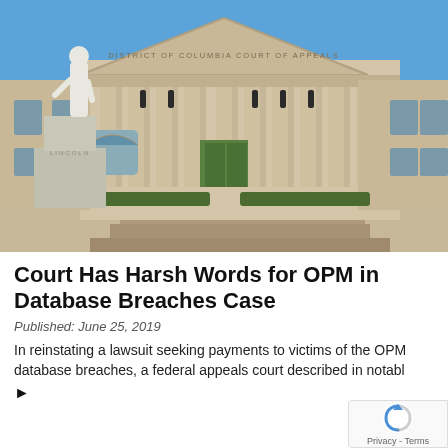[Figure (photo): Exterior photograph of the District of Columbia Court of Appeals building. A white marble neoclassical building with tall columns and a triangular pediment reading 'DISTRICT OF COLUMBIA COURT OF APPEALS'. A white statue of Abraham Lincoln stands in front of the building on the left side. Blue sky background.]
Court Has Harsh Words for OPM in Database Breaches Case
Published: June 25, 2019
In reinstating a lawsuit seeking payments to victims of the OPM database breaches, a federal appeals court described in notabl
▶